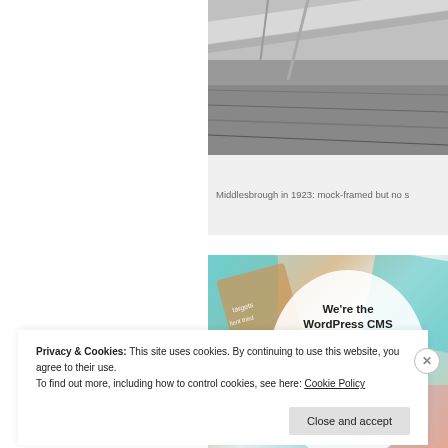[Figure (photo): Black and white photograph of Middlesbrough railway or industrial scene, cropped, showing tracks or industrial structure from 1923]
Middlesbrough in 1923: mock-framed but no s
[Figure (other): WordPress VIP advertisement banner with colorful card/document background and white oval containing text: We're the WordPress CMS for Very Important Content, WordPress VIP logo, Learn more button]
Privacy & Cookies: This site uses cookies. By continuing to use this website, you agree to their use.
To find out more, including how to control cookies, see here: Cookie Policy
Close and accept